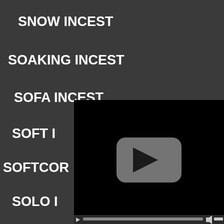SNOW INCEST
SOAKING INCEST
SOFA INCEST
SOFT I[NCEST]
SOFTCOR[E INCEST]
SOLO I[NCEST]
SOLO GIR[L INCEST]
SOME [INCEST]
[Figure (screenshot): Video player overlay with black background, gray rounded-rectangle play button in center, and video controls bar at bottom with play button, progress bar, volume icon, and volume slider]